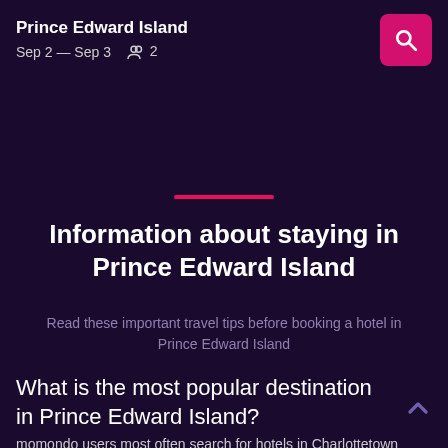Prince Edward Island
Sep 2 — Sep 3  2
Information about staying in Prince Edward Island
Read these important travel tips before booking a hotel in Prince Edward Island
What is the most popular destination in Prince Edward Island?
momondo users most often search for hotels in Charlottetown